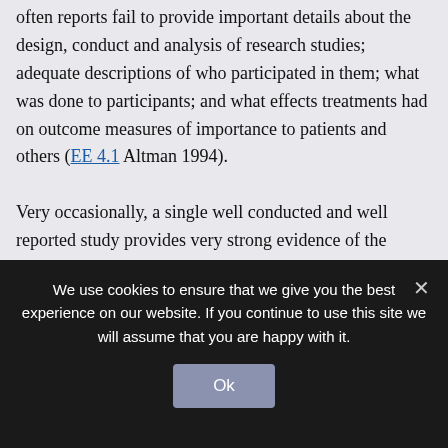often reports fail to provide important details about the design, conduct and analysis of research studies; adequate descriptions of who participated in them; what was done to participants; and what effects treatments had on outcome measures of importance to patients and others (EE 4.1 Altman 1994).
Very occasionally, a single well conducted and well reported study provides very strong evidence of the beneficial effects of
We use cookies to ensure that we give you the best experience on our website. If you continue to use this site we will assume that you are happy with it.